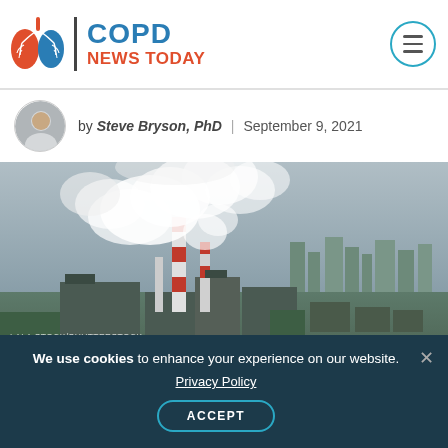COPD NEWS TODAY
by Steve Bryson, PhD | September 9, 2021
[Figure (photo): Aerial view of an industrial area with large smokestacks emitting heavy white smoke/steam, with a cityscape visible in the background]
LALA STOCK/SHUTTERSTOCK
We use cookies to enhance your experience on our website.
Privacy Policy
ACCEPT